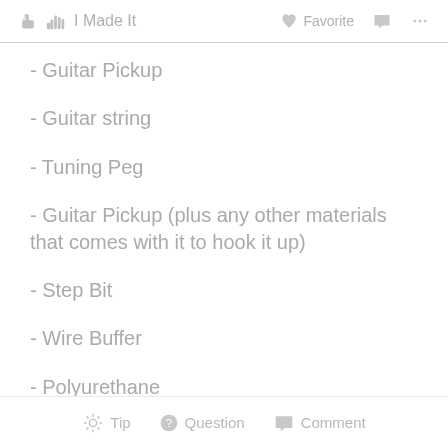I Made It   Favorite   ...
- Guitar Pickup
- Guitar string
- Tuning Peg
- Guitar Pickup (plus any other materials that comes with it to hook it up)
- Step Bit
- Wire Buffer
- Polyurethane
Tip   Question   Comment